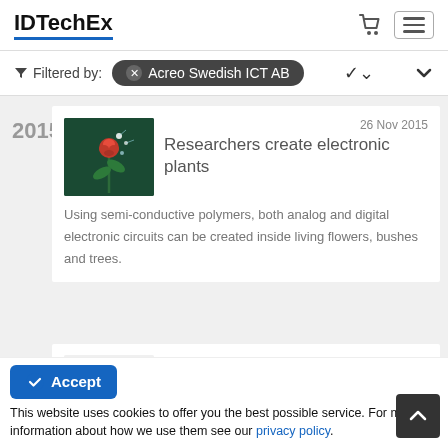IDTechEx
Filtered by: Acreo Swedish ICT AB
2015
[Figure (photo): Photo of a rose with electronic/light elements against a dark teal background]
Researchers create electronic plants
26 Nov 2015
Using semi-conductive polymers, both analog and digital electronic circuits can be created inside living flowers, bushes and trees.
[Figure (photo): Photo of medical diagnostic device box and pocket-sized machine]
E-skin and pocket-sized diagnostic machines give
15 May 2015
This website uses cookies to offer you the best possible service. For more information about how we use them see our privacy policy.